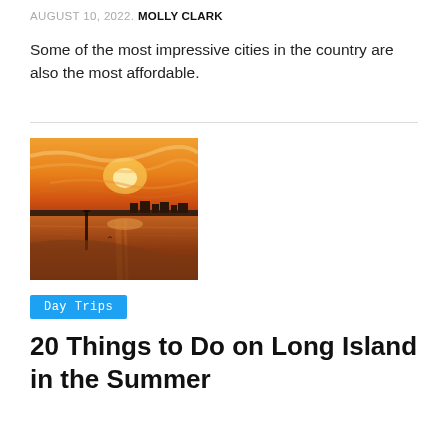AUGUST 10, 2022. MOLLY CLARK
Some of the most impressive cities in the country are also the most affordable.
[Figure (photo): Sunset over a coastal beach scene with warm orange and golden sky reflected on calm water, a pier visible in the middle distance and buildings along the shoreline.]
Day Trips
20 Things to Do on Long Island in the Summer